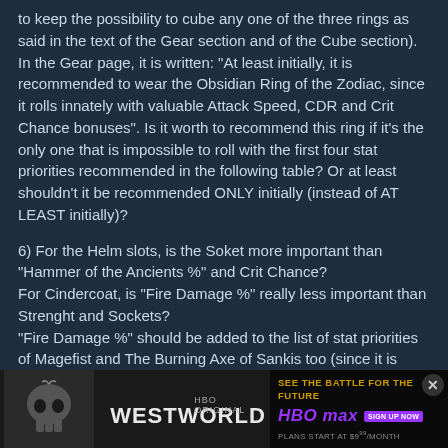to keep the possibility to cube any one of the three rings as said in the text of the Gear section and of the Cube section).
In the Gear page, it is written: "At least initially, it is recommended to wear the Obsidian Ring of the Zodiac, since it rolls innately with valuable Attack Speed, CDR and Crit Chance bonuses". Is it worth to recommend this ring if it's the only one that is impossible to roll with the first four stat priorities recommended in the following table? Or at least shouldn't it be recommended ONLY initially (instead of AT LEAST initially)?
6) For the Helm slots, is the Soket more important than "Hammer of the Ancients %" and Crit Chance?
For Cindercoat, is "Fire Damage %" really less important than Strenght and Sockets?
"Fire Damage %" should be added to the list of stat priorities of Magefist and The Burning Axe of Sankis too (since it is mentioned for every other item, including Cindercoat and Swamp Land Waders).
For Magefist, why is Crit Damage in 1st place instead of the guaranteed Crit Chance?
Swamp...
Resist A...
[Figure (other): Advertisement banner for HBO Original series Westworld on HBO Max. Left side shows skull imagery with 'WESTWORLD' text. Right side shows 'SEE THE BATTLE FOR THE FUTURE' tagline with HBO Max logo and 'SIGN UP NOW' button, 'PLANS START AT $9.99/MONTH'. Close button (X) in top right corner.]